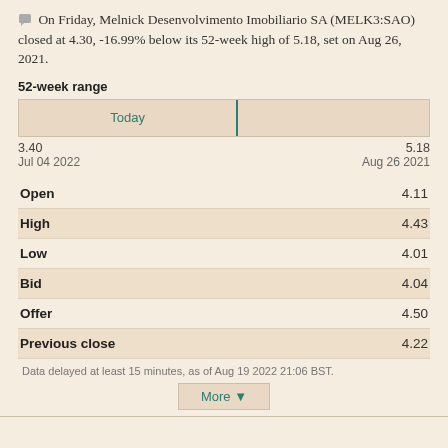On Friday, Melnick Desenvolvimento Imobiliario SA (MELK3:SAO) closed at 4.30, -16.99% below its 52-week high of 5.18, set on Aug 26, 2021.
52-week range
[Figure (infographic): 52-week price range bar showing 'Today' marker at approximately 53% from left, with a teal vertical divider line]
3.40   5.18
Jul 04 2022   Aug 26 2021
|  |  |
| --- | --- |
| Open | 4.11 |
| High | 4.43 |
| Low | 4.01 |
| Bid | 4.04 |
| Offer | 4.50 |
| Previous close | 4.22 |
Data delayed at least 15 minutes, as of Aug 19 2022 21:06 BST.
More ▼